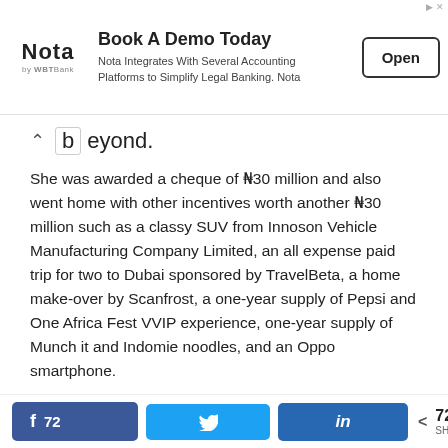[Figure (other): Advertisement banner for Nota: 'Book A Demo Today. Nota Integrates With Several Accounting Platforms to Simplify Legal Banking. Nota' with an Open button.]
beyond.
She was awarded a cheque of ₦30 million and also went home with other incentives worth another ₦30 million such as a classy SUV from Innoson Vehicle Manufacturing Company Limited, an all expense paid trip for two to Dubai sponsored by TravelBeta, a home make-over by Scanfrost, a one-year supply of Pepsi and One Africa Fest VVIP experience, one-year supply of Munch it and Indomie noodles, and an Oppo smartphone.
MERCY EKE CAREER
[Figure (other): Social share bar with Facebook (72 shares), Twitter, LinkedIn buttons and total 72 SHARES count.]